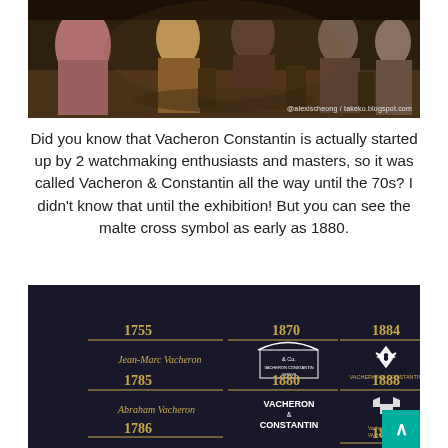[Figure (photo): Photo of people seated in a dimly lit room, possibly an exhibition or lounge area with warm lighting. Watermark text reads '@alexischeong / takeko.blogspot.com'.]
Did you know that Vacheron Constantin is actually started up by 2 watchmaking enthusiasts and masters, so it was called Vacheron &amp; Constantin all the way until the 70s? I didn't know that until the exhibition! But you can see the malte cross symbol as early as 1880.
[Figure (photo): Dark display board showing a timeline of Vacheron Constantin logos and dates: 1755, 1785, 1870 (with an archival logo), 1880 (VACHERON & CONSTANTIN text), 1884 (Maltese cross logo), 1888, and 1889. Names Jean-Marc Vacheron and Abraham Vacheron are visible. A teal scroll-to-top button is visible in the bottom-right corner.]